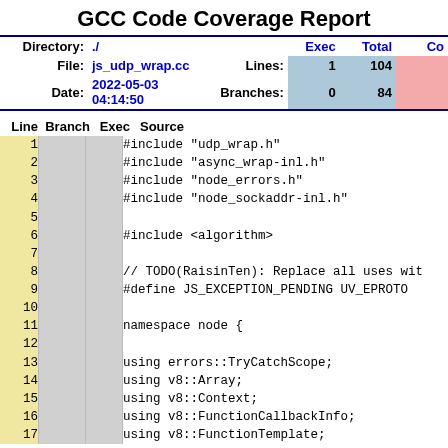GCC Code Coverage Report
| Directory: | ./ |  | Exec | Total | Co |
| --- | --- | --- | --- | --- | --- |
| File: | js_udp_wrap.cc | Lines: | 1 | 104 |  |
| Date: | 2022-05-03 04:14:50 | Branches: | 0 | 84 |  |
| Line | Branch | Exec | Source |
| --- | --- | --- | --- |
| 1 |  |  | #include "udp_wrap.h" |
| 2 |  |  | #include "async_wrap-inl.h" |
| 3 |  |  | #include "node_errors.h" |
| 4 |  |  | #include "node_sockaddr-inl.h" |
| 5 |  |  |  |
| 6 |  |  | #include <algorithm> |
| 7 |  |  |  |
| 8 |  |  | // TODO(RaisinTen): Replace all uses wit |
| 9 |  |  | #define JS_EXCEPTION_PENDING UV_EPROTO |
| 10 |  |  |  |
| 11 |  |  | namespace node { |
| 12 |  |  |  |
| 13 |  |  | using errors::TryCatchScope; |
| 14 |  |  | using v8::Array; |
| 15 |  |  | using v8::Context; |
| 16 |  |  | using v8::FunctionCallbackInfo; |
| 17 |  |  | using v8::FunctionTemplate; |